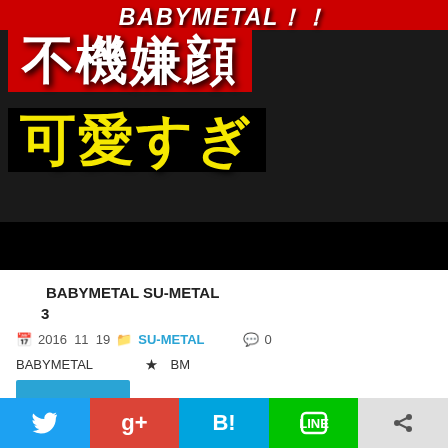[Figure (screenshot): Thumbnail image with red background and Japanese text overlay. Top red bar reads 'BABYMETAL!!'. Large white text on red box reads '不機嫌顔' (sulky face). Large yellow text on dark box reads '可愛すぎ' (too cute). Right side shows a young woman in school uniform with a pouty expression in a classroom setting.]
□□□□BABYMETAL SU-METAL□□□□□□□□□□□□ 3□□□
📅 2016 11 19  📁 SU-METAL  □□ 💬 0
BABYMETAL□□□□★□BM□□□□□□